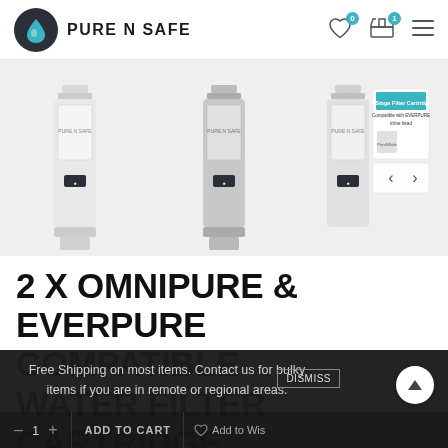[Figure (logo): Pure N Safe logo — dark circle with water drop icon and 'PURE N SAFE' wordmark]
[Figure (photo): Three white cylindrical water filter cartridges with Pure N Safe branding displayed against a light background, with navigation arrows]
2 X OMNIPURE & EVERPURE COMPATIBLE WATER FILTER CARTRIDGE 0.01 MIC ALKALINE&KDF
Free Shipping on most items. Contact us for bulky items if you are in remote or regional areas.
DISMISS
– 1 + ADD TO CART ♡ Add to Wis